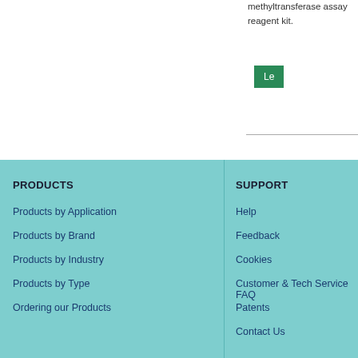methyltransferase assay reagent kit.
Products by Application
Products by Brand
Products by Industry
Products by Type
Ordering our Products
PRODUCTS
SUPPORT
Help
Feedback
Cookies
Customer & Tech Service FAQ
Patents
Contact Us
EMD
© 2021 Merck KGaA, Darmstadt, Germany and/or its affiliates. All Rights Reserved. The life science business of Merck KGaA, Darmstadt, Germany operates as MilliporeSig